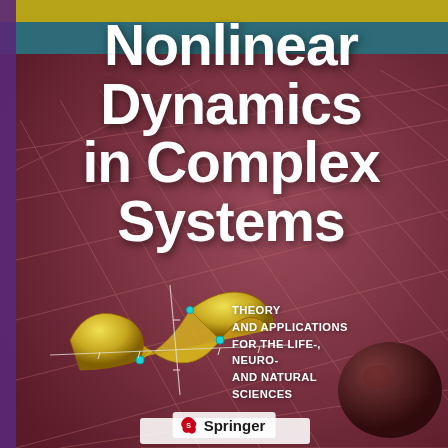[Figure (illustration): Book cover of 'Nonlinear Dynamics in Complex Systems' published by Springer. Features a reddish-mauve background with a geometric mesh/grid network pattern, a yellow 3D saddle-point surface with cyan dots at critical points, a dark sphere in the lower right, and a teal/purple banner at top. The Springer logo appears at the bottom.]
Nonlinear Dynamics in Complex Systems
THEORY AND APPLICATIONS FOR THE LIFE-, NEURO- AND NATURAL SCIENCES